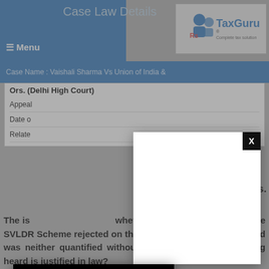Case Law Details
≡ Menu
[Figure (logo): TaxGuru logo - Complete tax solution]
Case Name : Vaishali Sharma Vs Union of India & Ors. (Delhi High Court)
| Appeal |
| Date o |
| Relate |
[Figure (screenshot): White modal dialog with black X close button in top right corner]
[Figure (screenshot): Black video player modal with X close button and loading spinner arc, overlapping the white modal]
& Ors.
The is whether application filed under the SVLDR Scheme rejected on the sole ground that the demand was neither quantified without giving opportunity of being heard is justified in law?